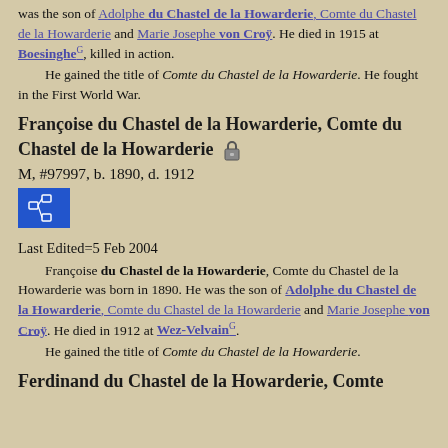was the son of Adolphe du Chastel de la Howarderie, Comte du Chastel de la Howarderie and Marie Josephe von Croÿ. He died in 1915 at Boesinghe, killed in action.
He gained the title of Comte du Chastel de la Howarderie. He fought in the First World War.
Françoise du Chastel de la Howarderie, Comte du Chastel de la Howarderie
M, #97997, b. 1890, d. 1912
[Figure (other): Pedigree chart icon button (blue square with family tree symbol)]
Last Edited=5 Feb 2004
Françoise du Chastel de la Howarderie, Comte du Chastel de la Howarderie was born in 1890. He was the son of Adolphe du Chastel de la Howarderie, Comte du Chastel de la Howarderie and Marie Josephe von Croÿ. He died in 1912 at Wez-Velvain.
He gained the title of Comte du Chastel de la Howarderie.
Ferdinand du Chastel de la Howarderie, Comte du Chastel de la Howarderie